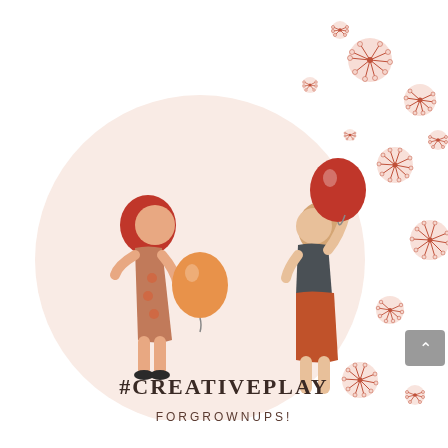[Figure (illustration): Flat-style illustration of two women holding balloons on a soft pink circular background. Left woman has red hair and wears a terracotta dress with flower motifs, holding an orange balloon. Right woman has blonde hair, wears a dark top and rust-coloured skirt, holding a red balloon that is floating upward. Dandelion seed illustrations scatter across the right side of the image in pink and dark red tones. A small grey upward-arrow UI button appears in the lower-right corner.]
#CREATIVEPLAY
FORGROWNUPS!